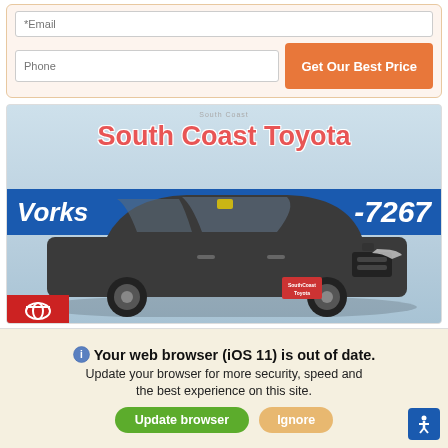[Figure (screenshot): Form section with email input field, phone input field, and Get Our Best Price orange button]
[Figure (photo): Toyota RAV4 SUV parked at South Coast Toyota dealership, with blue banner showing Vorks... and phone number -7267]
Your web browser (iOS 11) is out of date.
Update your browser for more security, speed and the best experience on this site.
Update browser
Ignore